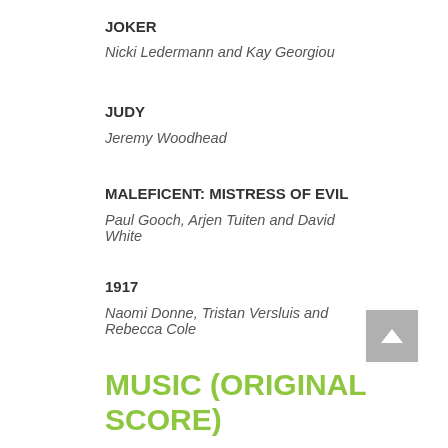JOKER
Nicki Ledermann and Kay Georgiou
JUDY
Jeremy Woodhead
MALEFICENT: MISTRESS OF EVIL
Paul Gooch, Arjen Tuiten and David White
1917
Naomi Donne, Tristan Versluis and Rebecca Cole
MUSIC (ORIGINAL SCORE)